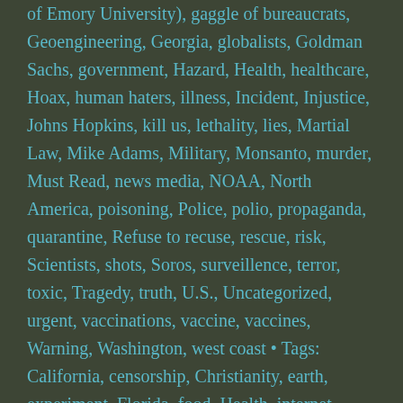of Emory University), gaggle of bureaucrats, Geoengineering, Georgia, globalists, Goldman Sachs, government, Hazard, Health, healthcare, Hoax, human haters, illness, Incident, Injustice, Johns Hopkins, kill us, lethality, lies, Martial Law, Mike Adams, Military, Monsanto, murder, Must Read, news media, NOAA, North America, poisoning, Police, polio, propaganda, quarantine, Refuse to recuse, rescue, risk, Scientists, shots, Soros, surveillence, terror, toxic, Tragedy, truth, U.S., Uncategorized, urgent, vaccinations, vaccine, vaccines, Warning, Washington, west coast • Tags: California, censorship, Christianity, earth, experiment, Florida, food, Health, internet, Military, political, religion, science,